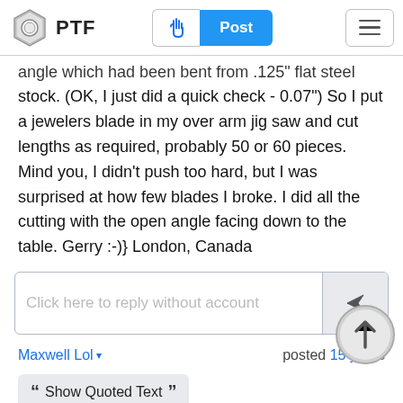PTF — Post button and hamburger menu
angle which had been bent from .125" flat steel stock. (OK, I just did a quick check - 0.07") So I put a jewelers blade in my over arm jig saw and cut lengths as required, probably 50 or 60 pieces. Mind you, I didn't push too hard, but I was surprised at how few blades I broke. I did all the cutting with the open angle facing down to the table. Gerry :-)} London, Canada
Click here to reply without account
Maxwell Lol ▾   posted 15 years
Show Quoted Text
Keep an eye on this. It goes on sale, and if you